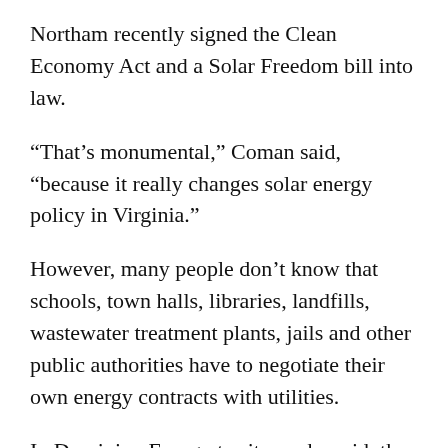Northam recently signed the Clean Economy Act and a Solar Freedom bill into law.
“That’s monumental,” Coman said, “because it really changes solar energy policy in Virginia.”
However, many people don’t know that schools, town halls, libraries, landfills, wastewater treatment plants, jails and other public authorities have to negotiate their own energy contracts with utilities.
In Dominion Energy territory, she said, the negotiators have settled on an “elegant solution” that allows public authorities — referred to as